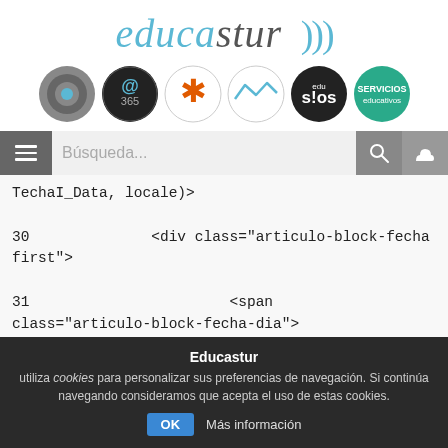[Figure (logo): Educastur logo with stylized italic text 'educastur' in blue/grey and sound wave symbols, plus a row of six circular icons below]
[Figure (screenshot): Search bar with hamburger menu icon on left, 'Búsqueda...' placeholder text, search icon button and cloud icon button on right]
TechaI_Data, locale)>

30                <div class="articulo-block-fecha first">

31                         <span class="articulo-block-fecha-dia">
Educastur utiliza cookies para personalizar sus preferencias de navegación. Si continúa navegando consideramos que acepta el uso de estas cookies. OK Más información